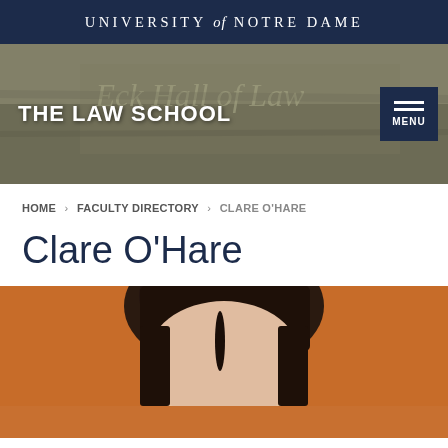UNIVERSITY of NOTRE DAME
[Figure (photo): Hero banner showing the Eck Hall of Law building sign with 'THE LAW SCHOOL' text overlay and a MENU button in the top right corner.]
HOME › FACULTY DIRECTORY › CLARE O'HARE
Clare O'Hare
[Figure (photo): Portrait photograph of Clare O'Hare, showing a woman with dark hair against a warm orange/amber background.]